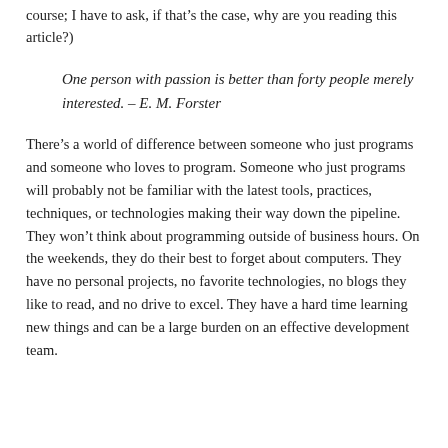course; I have to ask, if that's the case, why are you reading this article?)
One person with passion is better than forty people merely interested. – E. M. Forster
There’s a world of difference between someone who just programs and someone who loves to program. Someone who just programs will probably not be familiar with the latest tools, practices, techniques, or technologies making their way down the pipeline. They won’t think about programming outside of business hours. On the weekends, they do their best to forget about computers. They have no personal projects, no favorite technologies, no blogs they like to read, and no drive to excel. They have a hard time learning new things and can be a large burden on an effective development team.